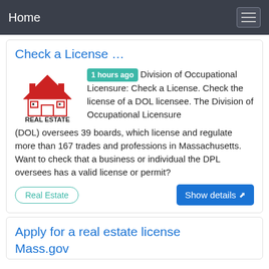Home
Check a License …
[Figure (logo): Real Estate logo with red house/roof icon and text 'REAL ESTATE' in bold black below]
1 hours ago Division of Occupational Licensure: Check a License. Check the license of a DOL licensee. The Division of Occupational Licensure (DOL) oversees 39 boards, which license and regulate more than 167 trades and professions in Massachusetts. Want to check that a business or individual the DPL oversees has a valid license or permit?
Real Estate
Show details
Apply for a real estate license Mass.gov